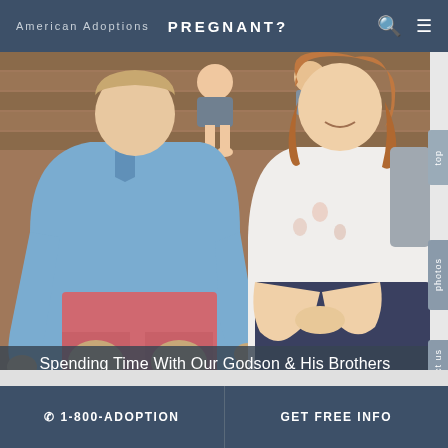American Adoptions  PREGNANT?
[Figure (photo): A man in a blue polo shirt and salmon/red shorts and a woman in a white floral top and dark jeans sitting together, with children visible in the background on wooden bleachers or steps.]
Spending Time With Our Godson & His Brothers
☎ 1-800-ADOPTION   GET FREE INFO